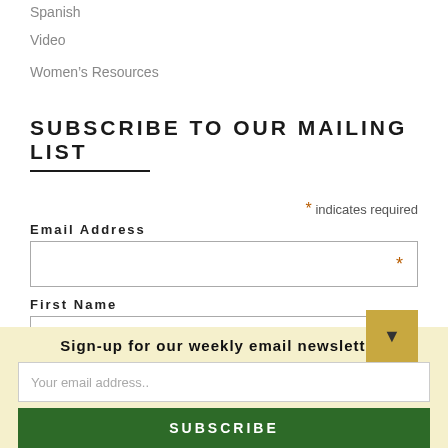Spanish
Video
Women’s Resources
SUBSCRIBE TO OUR MAILING LIST
* indicates required
Email Address
First Name
Sign-up for our weekly email newsletter!
Your email address..
SUBSCRIBE